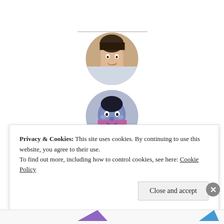[Figure (photo): Circular profile photo of a young man]
[Figure (photo): Circular profile photo of a person with face paint]
[Figure (photo): Circular profile photo of a man in a dark setting]
[Figure (photo): Circular profile photo of a man with glasses in a suit]
Privacy & Cookies: This site uses cookies. By continuing to use this website, you agree to their use.
To find out more, including how to control cookies, see here: Cookie Policy
Close and accept